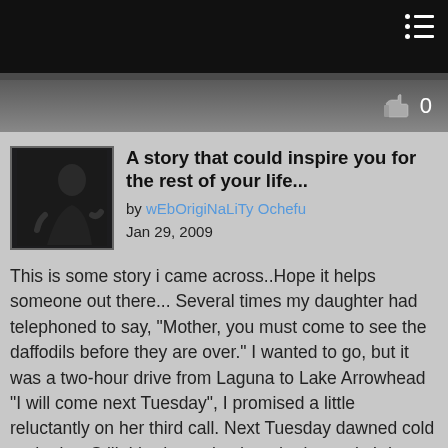A story that could inspire you for the rest of your life...
by wEbOrigiNaLiTy Ochefu
Jan 29, 2009
This is some story i came across..Hope it helps someone out there... Several times my daughter had telephoned to say, "Mother, you must come to see the daffodils before they are over." I wanted to go, but it was a two-hour drive from Laguna to Lake Arrowhead "I will come next Tuesday", I promised a little reluctantly on her third call. Next Tuesday dawned cold and rainy. Still, I had promised, and reluctantly I drove there. When I finally walked into my daughter Carolyn's house I was welcomed by the joyful sounds of happy children. I delightedly hugged and greeted my grandchildren. I told